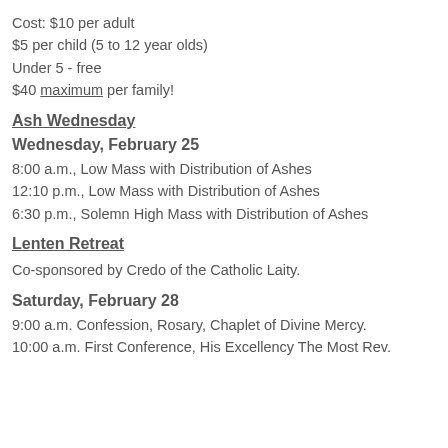Cost: $10 per adult
$5 per child (5 to 12 year olds)
Under 5 - free
$40 maximum per family!
Ash Wednesday
Wednesday, February 25
8:00 a.m., Low Mass with Distribution of Ashes
12:10 p.m., Low Mass with Distribution of Ashes
6:30 p.m., Solemn High Mass with Distribution of Ashes
Lenten Retreat
Co-sponsored by Credo of the Catholic Laity.
Saturday, February 28
9:00 a.m. Confession, Rosary, Chaplet of Divine Mercy.
10:00 a.m. First Conference, His Excellency The Most Rev.